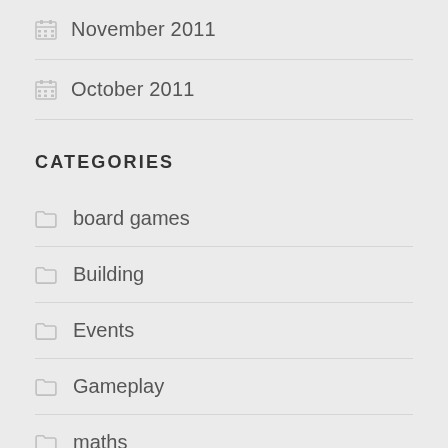November 2011
October 2011
CATEGORIES
board games
Building
Events
Gameplay
maths
miniatures